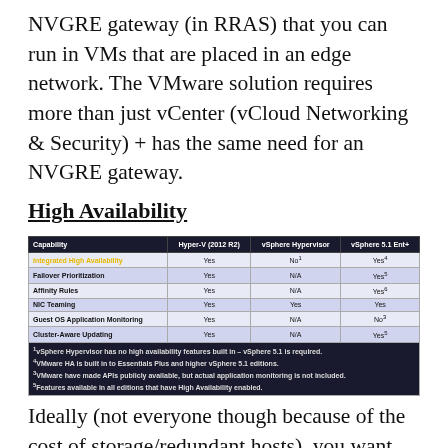NVGRE gateway (in RRAS) that you can run in VMs that are placed in an edge network. The VMware solution requires more than just vCenter (vCloud Networking & Security) + has the same need for an NVGRE gateway.
High Availability
| Capability | Hyper-V (2012 R2) | vSphere Hypervisor | vSphere 5.1 Ent+ |
| --- | --- | --- | --- |
| Integrated High Availability | Yes | No¹ | Yes⁴ |
| Failover Prioritization | Yes | N/A | Yes⁵ |
| Affinity Rules | Yes | N/A | Yes⁶ |
| NIC Teaming | Yes | Yes | Yes |
| Guest OS Application Monitoring | Yes | N/A | No³ |
| Cluster-Aware Updating | Yes | N/A | Yes⁵ |
Ideally (not everyone though because of the cost of storage/redundant hosts), you want your hosts to be fault tolerant. This HA is done